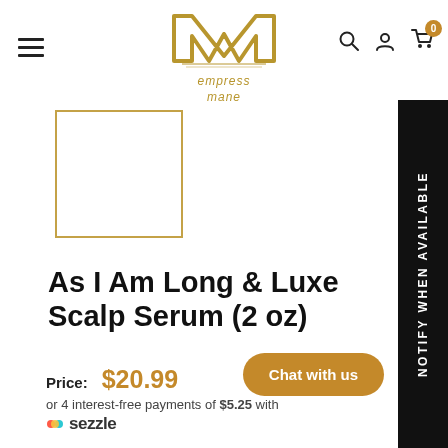[Figure (logo): Empress Mane logo - stylized M with empress mane text below]
[Figure (photo): Product thumbnail placeholder - empty bordered box]
As I Am Long & Luxe Scalp Serum (2 oz)
Price: $20.99
or 4 interest-free payments of $5.25 with sezzle